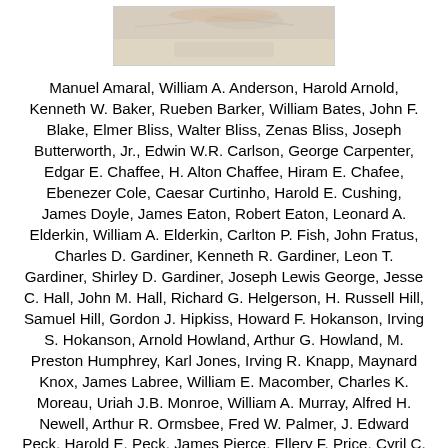[Figure (photo): A faded sepia/grayscale photograph, partially visible at the top of the page, showing an outdoor scene with sandy or snowy ground.]
Manuel Amaral, William A. Anderson, Harold Arnold, Kenneth W. Baker, Rueben Barker, William Bates, John F. Blake, Elmer Bliss, Walter Bliss, Zenas Bliss, Joseph Butterworth, Jr., Edwin W.R. Carlson, George Carpenter, Edgar E. Chaffee, H. Alton Chaffee, Hiram E. Chafee, Ebenezer Cole, Caesar Curtinho, Harold E. Cushing, James Doyle, James Eaton, Robert Eaton, Leonard A. Elderkin, William A. Elderkin, Carlton P. Fish, John Fratus, Charles D. Gardiner, Kenneth R. Gardiner, Leon T. Gardiner, Shirley D. Gardiner, Joseph Lewis George, Jesse C. Hall, John M. Hall, Richard G. Helgerson, H. Russell Hill, Samuel Hill, Gordon J. Hipkiss, Howard F. Hokanson, Irving S. Hokanson, Arnold Howland, Arthur G. Howland, M. Preston Humphrey, Karl Jones, Irving R. Knapp, Maynard Knox, James Labree, William E. Macomber, Charles K. Moreau, Uriah J.B. Monroe, William A. Murray, Alfred H. Newell, Arthur R. Ormsbee, Fred W. Palmer, J. Edward Peck, Harold E. Peck, James Pierce, Ellery F. Price, Cyril C. Smith, Arthur E. Swift, James Thatcher, Edmond Thibeaut, Eldred G. West